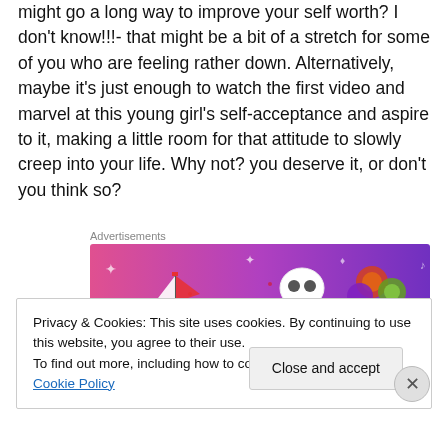might go a long way to improve your self worth? I don't know!!!- that might be a bit of a stretch for some of you who are feeling rather down. Alternatively, maybe it's just enough to watch the first video and marvel at this young girl's self-acceptance and aspire to it, making a little room for that attitude to slowly creep into your life. Why not? you deserve it, or don't you think so?
Advertisements
[Figure (illustration): Colorful advertisement banner with pink-to-purple gradient background featuring illustrated stickers including a sailboat, skull, and decorative elements]
Privacy & Cookies: This site uses cookies. By continuing to use this website, you agree to their use.
To find out more, including how to control cookies, see here: Cookie Policy